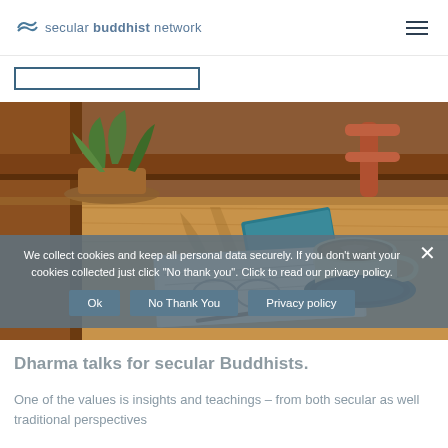secular buddhist network
[Figure (photo): A cafe table scene with a coffee cup on a dark saucer, a plant in a terracotta pot, a teal notebook, glasses and papers on a warm-toned wooden table with chairs in background.]
We collect cookies and keep all personal data securely. If you don't want your cookies collected just click "No thank you". Click to read our privacy policy.
Dharma talks for secular Buddhists.
One of the values is insights and teachings – from both secular as well traditional perspectives